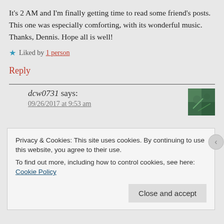It's 2 AM and I'm finally getting time to read some friend's posts. This one was especially comforting, with its wonderful music. Thanks, Dennis. Hope all is well!
★ Liked by 1 person
Reply
dcw0731 says:
09/26/2017 at 9:53 am
Privacy & Cookies: This site uses cookies. By continuing to use this website, you agree to their use.
To find out more, including how to control cookies, see here: Cookie Policy
Close and accept